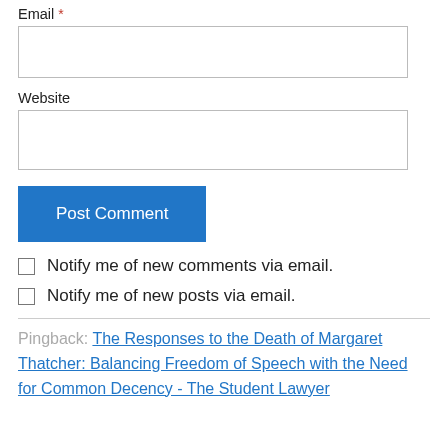Email *
Website
Post Comment
Notify me of new comments via email.
Notify me of new posts via email.
Pingback: The Responses to the Death of Margaret Thatcher: Balancing Freedom of Speech with the Need for Common Decency - The Student Lawyer